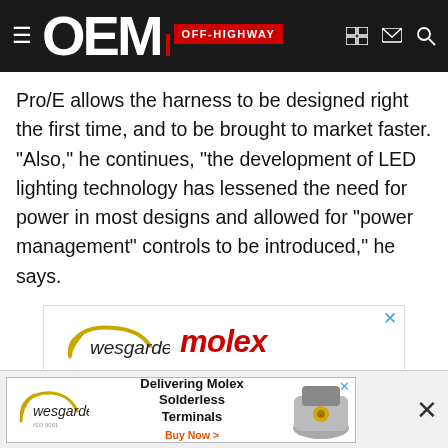OEM OFF-HIGHWAY
Pro/E allows the harness to be designed right the first time, and to be brought to market faster. "Also," he continues, "the development of LED lighting technology has lessened the need for power in most designs and allowed for "power management" controls to be introduced," he says.
[Figure (illustration): Wesgarde Molex advertisement: Delivering Molex Sealed Solutions for Harsh Environments. NEMA-rated Brad M8 + M12 Cordsets.]
[Figure (illustration): Bottom banner ad: Wesgarde - Delivering Molex Solderless Terminals. Buy Now.]